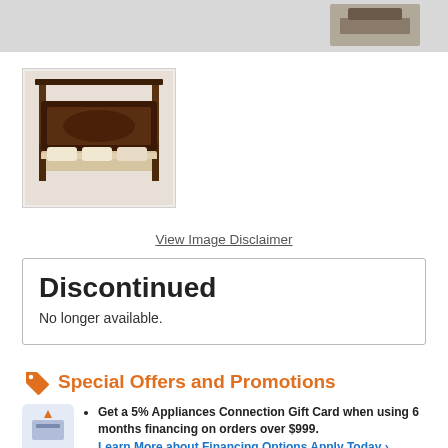[Figure (photo): Top banner with gray background showing partial product image (dark base/stand)]
[Figure (photo): Thumbnail image of a dark wood four-poster canopy bed with ornate headboard and cream/beige bedding]
View Image Disclaimer
Discontinued
No longer available.
Special Offers and Promotions
Get a 5% Appliances Connection Gift Card when using 6 months financing on orders over $999. Learn More about Financing Options Apply Today ›